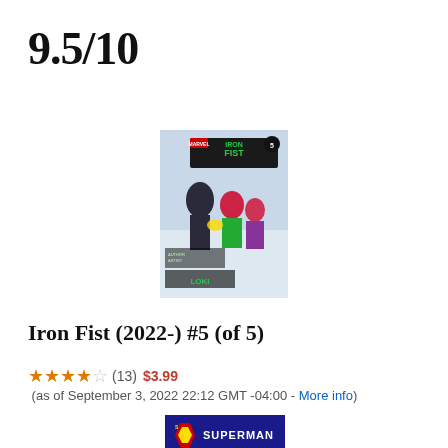9.5/10
[Figure (photo): Iron Fist (2022-) #5 comic book cover showing Iron Fist fighting characters with green costume against a white/snowy background, with 'Iron Fist' title in green letters at top]
Iron Fist (2022-) #5 (of 5)
★★★★☆ (13) $3.99 (as of September 3, 2022 22:12 GMT -04:00 - More info)
[Figure (photo): Superman comic book cover partially visible at bottom of page]